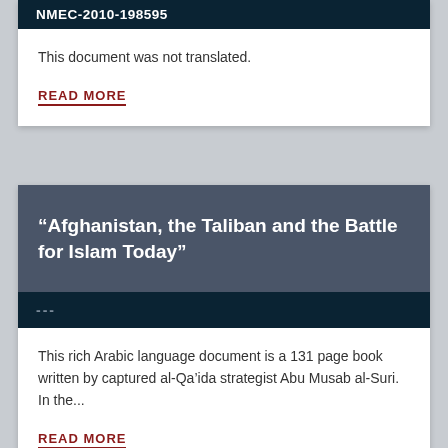NMEC-2010-198595
This document was not translated.
READ MORE
“Afghanistan, the Taliban and the Battle for Islam Today”
---
This rich Arabic language document is a 131 page book written by captured al-Qa’ida strategist Abu Musab al-Suri.  In the...
READ MORE